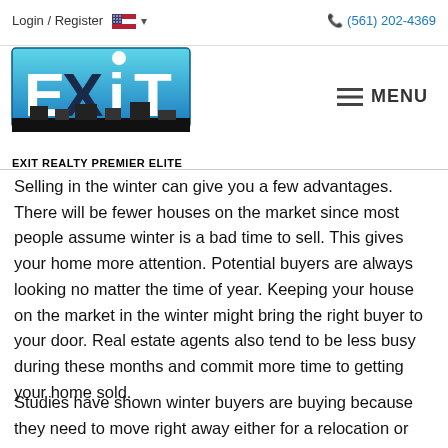Login / Register  (561) 202-4369
[Figure (logo): EXIT Realty Premier Elite logo with teal/blue EXIT text and building silhouette]
Selling in the winter can give you a few advantages. There will be fewer houses on the market since most people assume winter is a bad time to sell. This gives your home more attention. Potential buyers are always looking no matter the time of year. Keeping your house on the market in the winter might bring the right buyer to your door. Real estate agents also tend to be less busy during these months and commit more time to getting your home sold.
Studies have shown winter buyers are buying because they need to move right away either for a relocation or